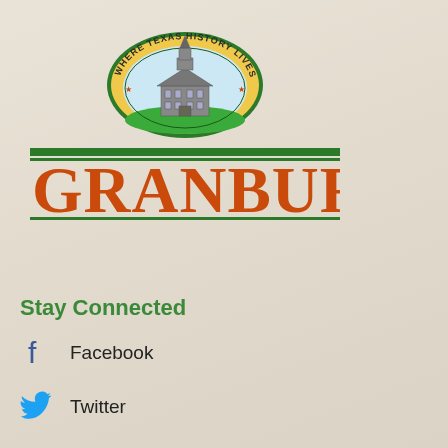[Figure (logo): City of Granbury logo: oval badge with 'WHERE TEXAS HISTORY LIVES' text, courthouse illustration, and stars, above green horizontal lines and large orange 'GRANBURY' text]
Stay Connected
Facebook
Twitter
YouTube